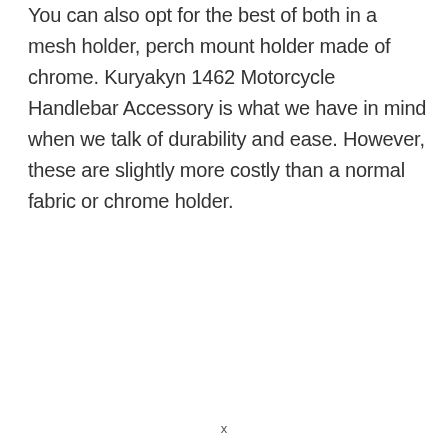You can also opt for the best of both in a mesh holder, perch mount holder made of chrome. Kuryakyn 1462 Motorcycle Handlebar Accessory is what we have in mind when we talk of durability and ease. However, these are slightly more costly than a normal fabric or chrome holder.
x